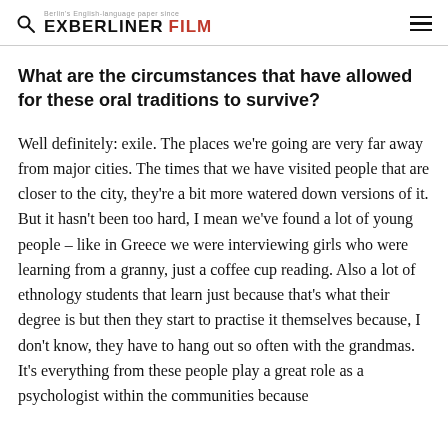EXBERLINER FILM
What are the circumstances that have allowed for these oral traditions to survive?
Well definitely: exile. The places we're going are very far away from major cities. The times that we have visited people that are closer to the city, they're a bit more watered down versions of it. But it hasn't been too hard, I mean we've found a lot of young people – like in Greece we were interviewing girls who were learning from a granny, just a coffee cup reading. Also a lot of ethnology students that learn just because that's what their degree is but then they start to practise it themselves because, I don't know, they have to hang out so often with the grandmas. It's everything from these people play a great role as a psychologist within the communities because